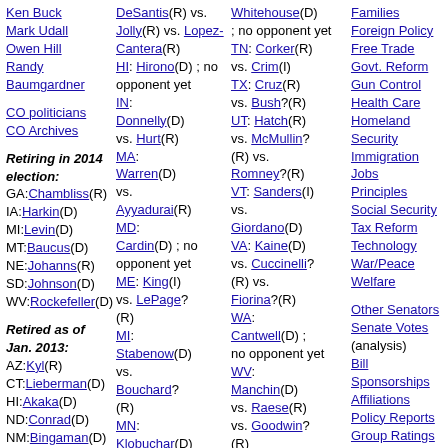Ken Buck
Mark Udall
Owen Hill
Randy Baumgardner
CO politicians
CO Archives
Retiring in 2014 election:
GA: Chambliss(R)
IA: Harkin(D)
MI: Levin(D)
MT: Baucus(D)
NE: Johanns(R)
SD: Johnson(D)
WV: Rockefeller(D)
Retired as of Jan. 2013:
AZ: Kyl(R)
CT: Lieberman(D)
HI: Akaka(D)
ND: Conrad(D)
NM: Bingaman(D)
TX: Hutchison(R)
VA: Webb(D)
WI: Kohl(D)
DeSantis(R) vs. Jolly(R) vs. Lopez-Cantera(R)
HI: Hirono(D) ; no opponent yet
IN: Donnelly(D) vs. Hurt(R)
MA: Warren(D) vs. Ayyadurai(R)
MD: Cardin(D) ; no opponent yet
ME: King(I) vs. LePage?(R)
MI: Stabenow(D) vs. Bouchard?(R)
MN: Klobuchar(D) vs. Paulsen?(R)
Whitehouse(D) ; no opponent yet
TN: Corker(R) vs. Crim(I)
TX: Cruz(R) vs. Bush?(R)
UT: Hatch(R) vs. McMullin?(R) vs. Romney?(R)
VT: Sanders(I) vs. Giordano(D)
VA: Kaine(D) vs. Cuccinelli?(R) vs. Fiorina?(R)
WA: Cantwell(D) ; no opponent yet
WV: Manchin(D) vs. Raese(R) vs. Goodwin?(R)
WI: Baldwin(D) vs. Grothman?(R) vs.
Families
Foreign Policy
Free Trade
Govt. Reform
Gun Control
Health Care
Homeland Security
Immigration
Jobs
Principles
Social Security
Tax Reform
Technology
War/Peace
Welfare
Other Senators
Senate Votes (analysis)
Bill Sponsorships
Affiliations
Policy Reports
Group Ratings